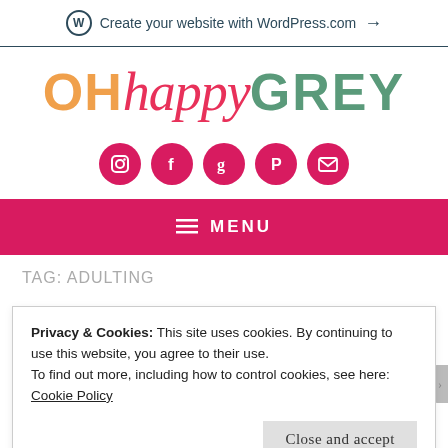Create your website with WordPress.com →
[Figure (logo): OHhappyGREY blog logo with orange OH, pink cursive happy, and teal GREY text]
[Figure (infographic): Row of 5 pink circular social media icons: Instagram, Facebook, Goodreads, Pinterest, Email]
≡ MENU
TAG: ADULTING
Privacy & Cookies: This site uses cookies. By continuing to use this website, you agree to their use.
To find out more, including how to control cookies, see here: Cookie Policy
Close and accept